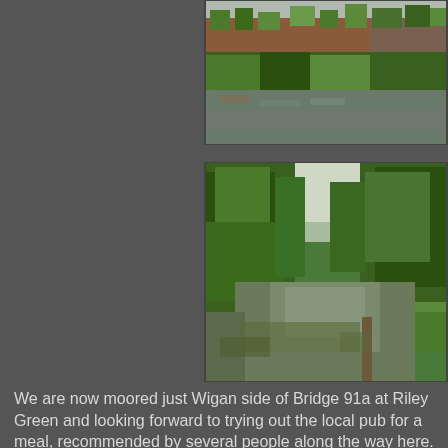[Figure (photo): Photograph of a canal with brick buildings and garden walls along the towpath, green vegetation, and calm water reflecting the surroundings. Partial view cropped at top.]
[Figure (photo): Photograph of a tree-lined canal stretching into the distance with lush green foliage on both sides, calm water reflecting the sky and trees, and a grassy bank on the right.]
We are now moored just Wigan side of Bridge 91a at Riley Green and looking forward to trying out the local pub for a meal, recommended by several people along the way here. Hopefully all being well we hope to make Wigan top lock tomorrow and traverse them on Saturday.  Trouble is we